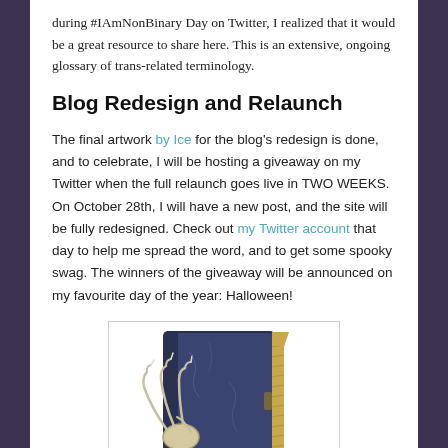during #IAmNonBinary Day on Twitter, I realized that it would be a great resource to share here. This is an extensive, ongoing glossary of trans-related terminology.
Blog Redesign and Relaunch
The final artwork by Ice for the blog's redesign is done, and to celebrate, I will be hosting a giveaway on my Twitter when the full relaunch goes live in TWO WEEKS. On October 28th, I will have a new post, and the site will be fully redesigned. Check out my Twitter account that day to help me spread the word, and to get some spooky swag. The winners of the giveaway will be announced on my favourite day of the year: Halloween!
[Figure (illustration): Illustration of a dark blue spellbook with skeletal claw hands gripping it and gold-tipped pages, drawn in a spooky Halloween style.]